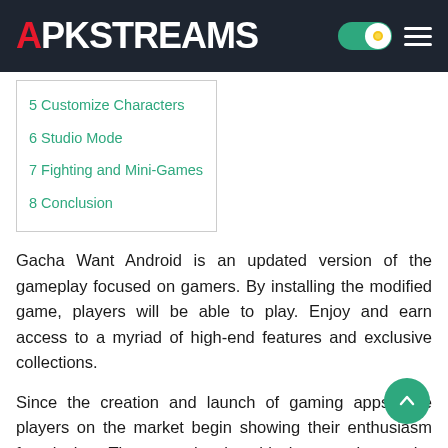APKSTREAMS
5 Customize Characters
6 Studio Mode
7 Fighting and Mini-Games
8 Conclusion
Gacha Want Android is an updated version of the gameplay focused on gamers. By installing the modified game, players will be able to play. Enjoy and earn access to a myriad of high-end features and exclusive collections.
Since the creation and launch of gaming apps. The players on the market begin showing their enthusiasm for playing. They are showing this interest due to the availability of premium features, including Live Studio.
The live studio’s dashboard might allow fans to have fun